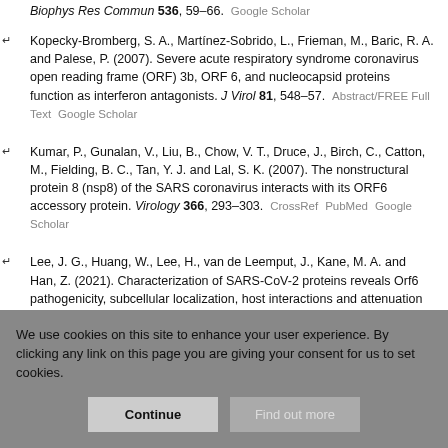Biophys Res Commun 536, 59–66. Google Scholar
Kopecky-Bromberg, S. A., Martínez-Sobrido, L., Frieman, M., Baric, R. A. and Palese, P. (2007). Severe acute respiratory syndrome coronavirus open reading frame (ORF) 3b, ORF 6, and nucleocapsid proteins function as interferon antagonists. J Virol 81, 548–57. Abstract/FREE Full Text Google Scholar
Kumar, P., Gunalan, V., Liu, B., Chow, V. T., Druce, J., Birch, C., Catton, M., Fielding, B. C., Tan, Y. J. and Lal, S. K. (2007). The nonstructural protein 8 (nsp8) of the SARS coronavirus interacts with its ORF6 accessory protein. Virology 366, 293–303. CrossRef PubMed Google Scholar
Lee, J. G., Huang, W., Lee, H., van de Leemput, J., Kane, M. A. and Han, Z. (2021). Characterization of SARS-CoV-2 proteins reveals Orf6 pathogenicity, subcellular localization, host interactions and attenuation by Selinexor. Cell Biosci 11, 58. CrossRef Google Scholar
We use cookies on this site to enhance your user experience. By clicking any link on this page you are giving your consent for us to set cookies.